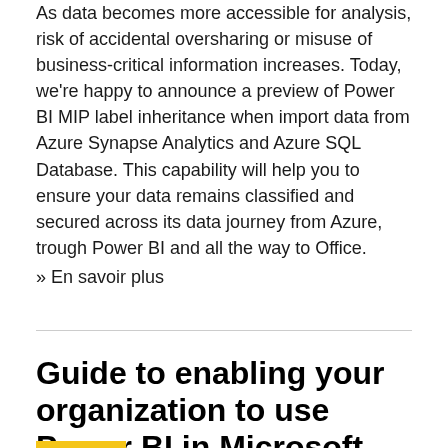As data becomes more accessible for analysis, risk of accidental oversharing or misuse of business-critical information increases. Today, we're happy to announce a preview of Power BI MIP label inheritance when import data from Azure Synapse Analytics and Azure SQL Database. This capability will help you to ensure your data remains classified and secured across its data journey from Azure, trough Power BI and all the way to Office.
» En savoir plus
Guide to enabling your organization to use Power BI in Microsoft Teams